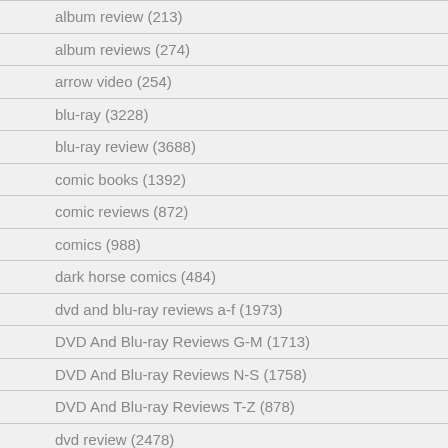album review (213)
album reviews (274)
arrow video (254)
blu-ray (3228)
blu-ray review (3688)
comic books (1392)
comic reviews (872)
comics (988)
dark horse comics (484)
dvd and blu-ray reviews a-f (1973)
DVD And Blu-ray Reviews G-M (1713)
DVD And Blu-ray Reviews N-S (1758)
DVD And Blu-ray Reviews T-Z (878)
dvd review (2478)
idw publishing (216)
image comics (207)
kino lorber (359)
movie news (260)
review (318)
scream factory (271)
severin films (250)